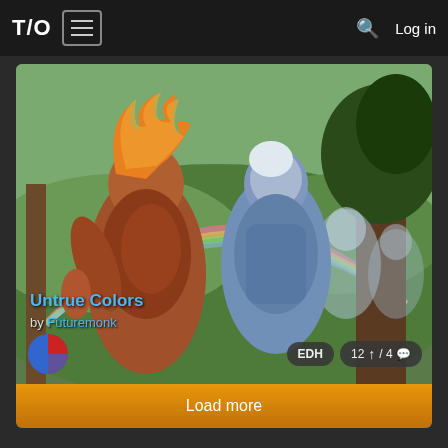T/O | Log in
[Figure (illustration): Fantasy card game art showing two humanoid figures — one with fiery orange hair and reddish skin, one blue-skinned with white hair — in a forest landscape with a rainbow arc in the background. Trees visible on right side.]
Untrue Colors
by Futuremonk
EDH  12 ↑ / 4 💬
Load more
Magic the Gathering, FNM is TM and copyright Wizards of the Coast, Inc, a subsidiary of Hasbro, Inc. All rights reserved. This site is unaffiliated.